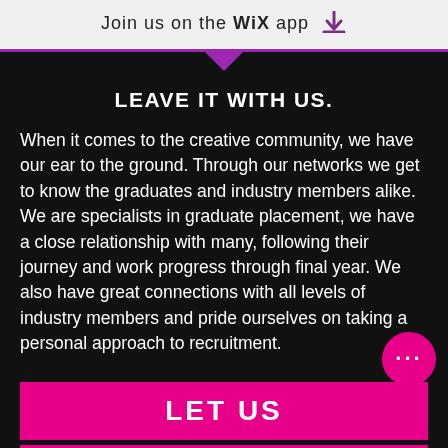Join us on the WiX app ↓
LEAVE IT WITH US.
When it comes to the creative community, we have our ear to the ground. Through our networks we get to know the graduates and industry members alike. We are specialists in graduate placement, we have a close relationship with many, following their journey and work progress through final year. We also have great connections with all levels of industry members and pride ourselves on taking a personal approach to recruitment.
LET US
TAKE CARE